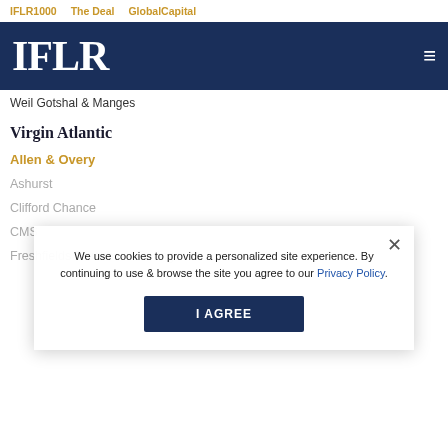IFLR1000   The Deal   GlobalCapital
IFLR
Weil Gotshal & Manges
Virgin Atlantic
Allen & Overy
Ashurst
Clifford Chance
CMS
Freshfields Bruckhaus Deringer
We use cookies to provide a personalized site experience. By continuing to use & browse the site you agree to our Privacy Policy.